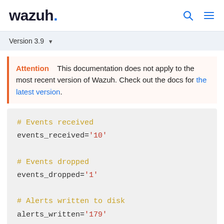wazuh.
Version 3.9
Attention  This documentation does not apply to the most recent version of Wazuh. Check out the docs for the latest version.
# Events received
events_received='10'

# Events dropped
events_dropped='1'

# Alerts written to disk
alerts_written='179'